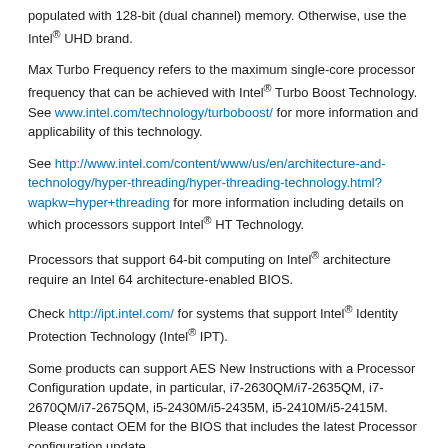populated with 128-bit (dual channel) memory. Otherwise, use the Intel® UHD brand.
Max Turbo Frequency refers to the maximum single-core processor frequency that can be achieved with Intel® Turbo Boost Technology. See www.intel.com/technology/turboboost/ for more information and applicability of this technology.
See http://www.intel.com/content/www/us/en/architecture-and-technology/hyper-threading/hyper-threading-technology.html?wapkw=hyper+threading for more information including details on which processors support Intel® HT Technology.
Processors that support 64-bit computing on Intel® architecture require an Intel 64 architecture-enabled BIOS.
Check http://ipt.intel.com/ for systems that support Intel® Identity Protection Technology (Intel® IPT).
Some products can support AES New Instructions with a Processor Configuration update, in particular, i7-2630QM/i7-2635QM, i7-2670QM/i7-2675QM, i5-2430M/i5-2435M, i5-2410M/i5-2415M. Please contact OEM for the BIOS that includes the latest Processor configuration update.
Company Information
Our Commitment